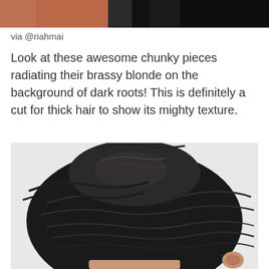[Figure (photo): Top portion of a photo showing a person near a brick wall, cropped at the top of the page]
via @riahmai
Look at these awesome chunky pieces radiating their brassy blonde on the background of dark roots! This is definitely a cut for thick hair to show its mighty texture.
[Figure (photo): Close-up back view of a dark-haired person with a textured chunky pixie cut hairstyle, showing dark roots and layered texture]